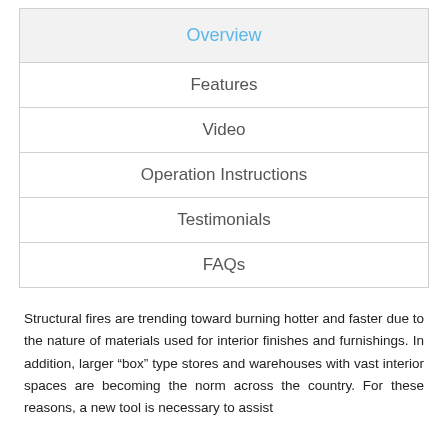| Overview |
| Features |
| Video |
| Operation Instructions |
| Testimonials |
| FAQs |
Structural fires are trending toward burning hotter and faster due to the nature of materials used for interior finishes and furnishings. In addition, larger “box” type stores and warehouses with vast interior spaces are becoming the norm across the country. For these reasons, a new tool is necessary to assist